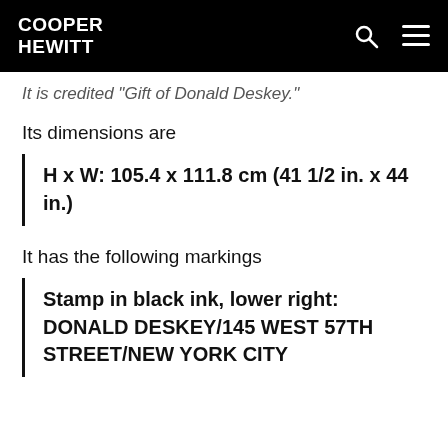COOPER HEWITT
It is credited "Gift of Donald Deskey."
Its dimensions are
H x W: 105.4 x 111.8 cm (41 1/2 in. x 44 in.)
It has the following markings
Stamp in black ink, lower right: DONALD DESKEY/145 WEST 57TH STREET/NEW YORK CITY